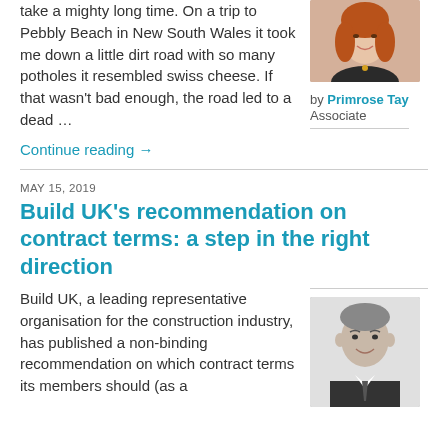take a mighty long time. On a trip to Pebbly Beach in New South Wales it took me down a little dirt road with so many potholes it resembled swiss cheese. If that wasn't bad enough, the road led to a dead …
[Figure (photo): Headshot of a woman with long auburn hair, smiling, wearing a dark top.]
by Primrose Tay
Associate
Continue reading →
MAY 15, 2019
Build UK's recommendation on contract terms: a step in the right direction
Build UK, a leading representative organisation for the construction industry, has published a non-binding recommendation on which contract terms its members should (as a
[Figure (photo): Headshot of a man in a suit and tie, smiling, black and white photo.]